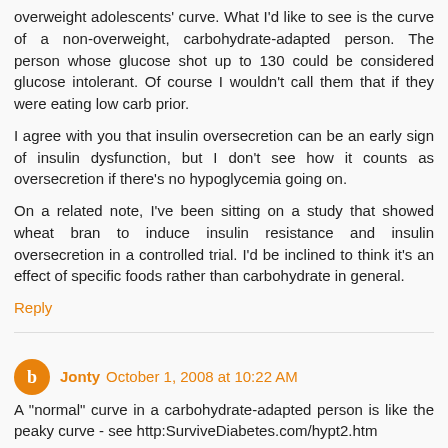overweight adolescents' curve. What I'd like to see is the curve of a non-overweight, carbohydrate-adapted person. The person whose glucose shot up to 130 could be considered glucose intolerant. Of course I wouldn't call them that if they were eating low carb prior.
I agree with you that insulin oversecretion can be an early sign of insulin dysfunction, but I don't see how it counts as oversecretion if there's no hypoglycemia going on.
On a related note, I've been sitting on a study that showed wheat bran to induce insulin resistance and insulin oversecretion in a controlled trial. I'd be inclined to think it's an effect of specific foods rather than carbohydrate in general.
Reply
Jonty October 1, 2008 at 10:22 AM
A "normal" curve in a carbohydrate-adapted person is like the peaky curve - see http:SurviveDiabetes.com/hypt2.htm